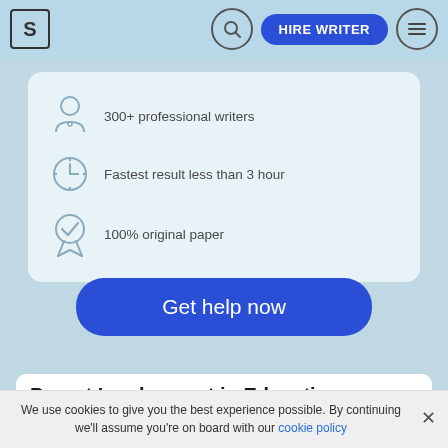S | [search] HIRE WRITER [menu]
300+ professional writers
Fastest result less than 3 hour
100% original paper
Get help now
Parent Involvement in Education
We use cookies to give you the best experience possible. By continuing we'll assume you're on board with our cookie policy